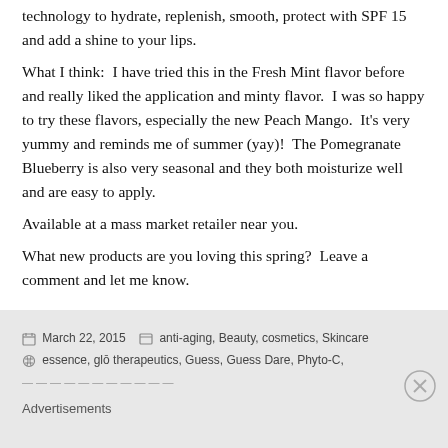technology to hydrate, replenish, smooth, protect with SPF 15 and add a shine to your lips. What I think:  I have tried this in the Fresh Mint flavor before and really liked the application and minty flavor.  I was so happy to try these flavors, especially the new Peach Mango.  It's very yummy and reminds me of summer (yay)!  The Pomegranate Blueberry is also very seasonal and they both moisturize well and are easy to apply. Available at a mass market retailer near you. What new products are you loving this spring?  Leave a comment and let me know.
March 22, 2015  anti-aging, Beauty, cosmetics, Skincare  essence, glō therapeutics, Guess, Guess Dare, Phyto-C,  Advertisements